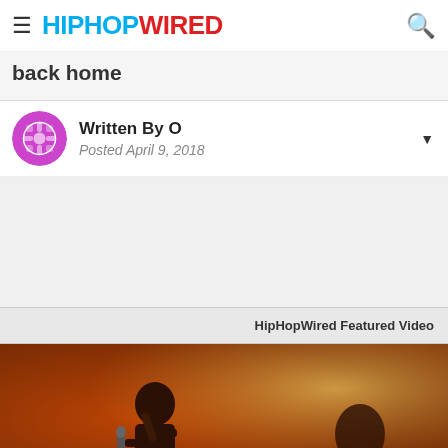HIPHOPWIRED
back home
Written By O
Posted April 9, 2018
[Figure (photo): HipHopWired Featured Video section with a concert photo showing a performer on stage holding a microphone, with orange/warm stage lighting]
HipHopWired Featured Video